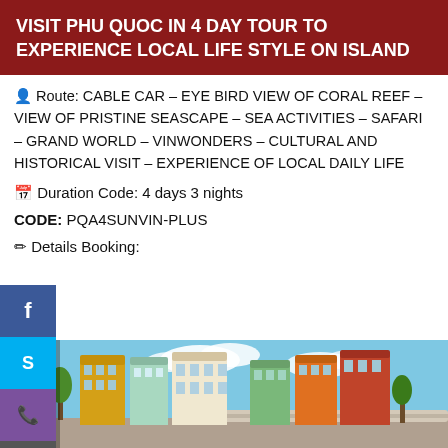VISIT PHU QUOC IN 4 DAY TOUR TO EXPERIENCE LOCAL LIFE STYLE ON ISLAND
Route: CABLE CAR – EYE BIRD VIEW OF CORAL REEF – VIEW OF PRISTINE SEASCAPE – SEA ACTIVITIES – SAFARI – GRAND WORLD – VINWONDERS – CULTURAL AND HISTORICAL VISIT – EXPERIENCE OF LOCAL DAILY LIFE
Duration Code: 4 days 3 nights
CODE: PQA4SUNVIN-PLUS
Details Booking:
[Figure (photo): Colorful European-style buildings at Grand World Phu Quoc with blue sky and trees]